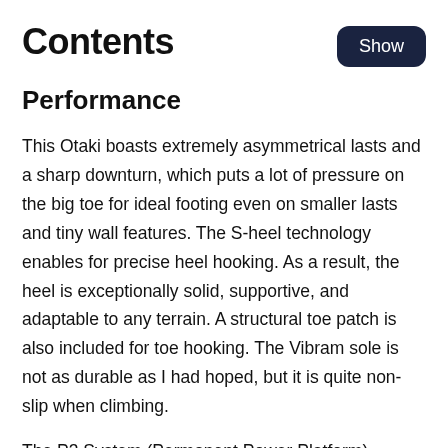Contents
Performance
This Otaki boasts extremely asymmetrical lasts and a sharp downturn, which puts a lot of pressure on the big toe for ideal footing even on smaller lasts and tiny wall features. The S-heel technology enables for precise heel hooking. As a result, the heel is exceptionally solid, supportive, and adaptable to any terrain. A structural toe patch is also included for toe hooking. The Vibram sole is not as durable as I had hoped, but it is quite non-slip when climbing.
The P3 System (Permanent Power Platform) guarantees that the downturn lasts as long as possible. The shoe can